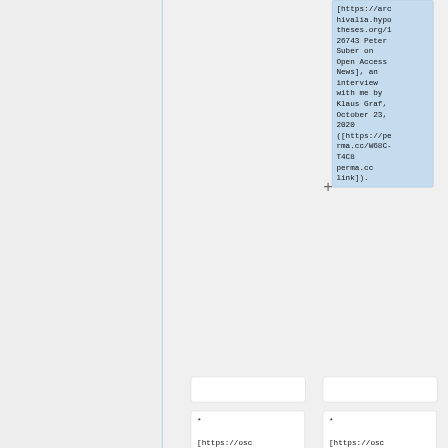[https://archivalia.hypotheses.org/126743 Peter Suber on Open Access News], an interview with me by Klaus Graf, October 23, 2020 ([https://perma.cc/W68C-T4C8 perma.cc link]).
* [https://osc
* [https://osc